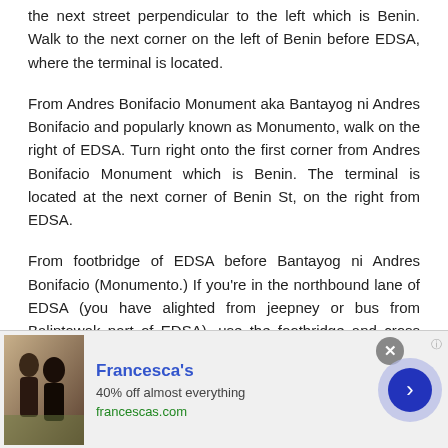the next street perpendicular to the left which is Benin. Walk to the next corner on the left of Benin before EDSA, where the terminal is located.
From Andres Bonifacio Monument aka Bantayog ni Andres Bonifacio and popularly known as Monumento, walk on the right of EDSA. Turn right onto the first corner from Andres Bonifacio Monument which is Benin. The terminal is located at the next corner of Benin St, on the right from EDSA.
From footbridge of EDSA before Bantayog ni Andres Bonifacio (Monumento.) If you're in the northbound lane of EDSA (you have alighted from jeepney or bus from Balintawak part of EDSA), use the footbridge and cross EDSA. Walk toward Andres Bonifacio Monument and
[Figure (photo): Advertisement banner for Francesca's showing women at an outdoor setting with text '40% off almost everything' and website francescas.com, with a close button and navigation arrow.]